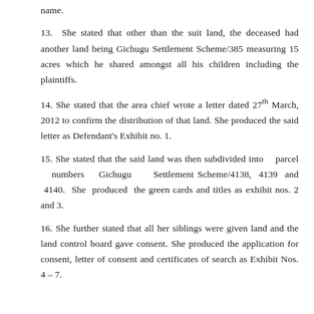name.
13.  She stated that other than the suit land, the deceased had another land being Gichugu Settlement Scheme/385 measuring 15 acres which he shared amongst all his children including the plaintiffs.
14. She stated that the area chief wrote a letter dated 27th March, 2012 to confirm the distribution of that land. She produced the said letter as Defendant's Exhibit no. 1.
15. She stated that the said land was then subdivided into parcel numbers Gichugu Settlement Scheme/4138, 4139 and 4140. She produced the green cards and titles as exhibit nos. 2 and 3.
16. She further stated that all her siblings were given land and the land control board gave consent. She produced the application for consent, letter of consent and certificates of search as Exhibit Nos. 4 – 7.